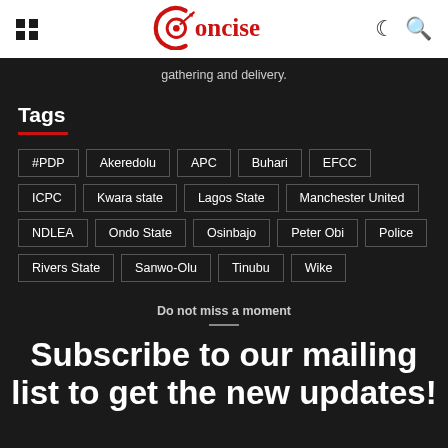Concise (logo header with navigation icons)
gathering and delivery.
Tags
#PDP
Akeredolu
APC
Buhari
EFCC
ICPC
Kwara state
Lagos State
Manchester United
NDLEA
Ondo State
Osinbajo
Peter Obi
Police
Rivers State
Sanwo-Olu
Tinubu
Wike
Do not miss a moment
Subscribe to our mailing list to get the new updates!